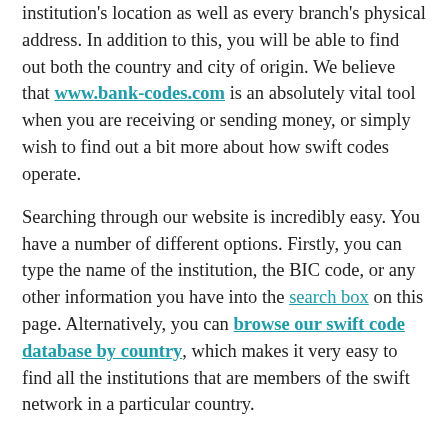institution's location as well as every branch's physical address. In addition to this, you will be able to find out both the country and city of origin. We believe that www.bank-codes.com is an absolutely vital tool when you are receiving or sending money, or simply wish to find out a bit more about how swift codes operate.
Searching through our website is incredibly easy. You have a number of different options. Firstly, you can type the name of the institution, the BIC code, or any other information you have into the search box on this page. Alternatively, you can browse our swift code database by country, which makes it very easy to find all the institutions that are members of the swift network in a particular country.